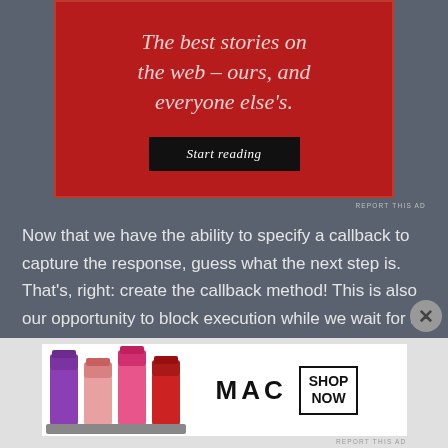[Figure (other): Red advertisement banner with italic white text 'The best stories on the web – ours, and everyone else's.' and a black 'Start reading' button]
REPORT THIS AD
Now that we have the ability to specify a callback to capture the response, guess what the next step is. That's, right: create the callback method! This is also our opportunity to block execution while we wait for a response. I'll use a ManualResetEvent to block execution, and I'll set it in the callback. Perfect, and
[Figure (other): MAC cosmetics advertisement showing colorful lipsticks with 'MAC' logo and 'SHOP NOW' box]
REPORT THIS AD